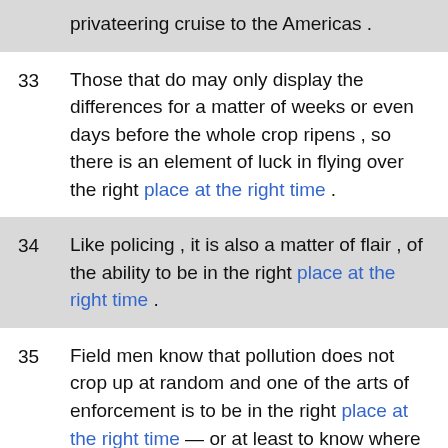privateering cruise to the Americas .
33  Those that do may only display the differences for a matter of weeks or even days before the whole crop ripens , so there is an element of luck in flying over the right place at the right time .
34  Like policing , it is also a matter of flair , of the ability to be in the right place at the right time .
35  Field men know that pollution does not crop up at random and one of the arts of enforcement is to be in the right place at the right time — or at least to know where to look , for a particular problem in this form of enforcement is to forge a link between act or event and offender .